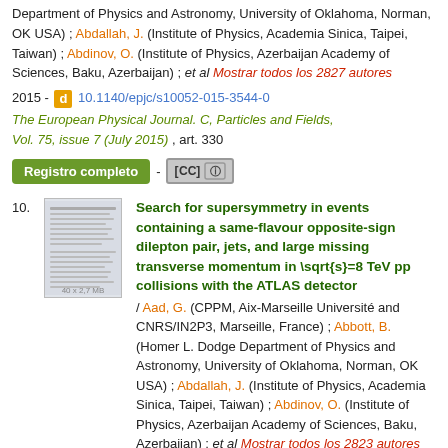Department of Physics and Astronomy, University of Oklahoma, Norman, OK USA) ; Abdallah, J. (Institute of Physics, Academia Sinica, Taipei, Taiwan) ; Abdinov, O. (Institute of Physics, Azerbaijan Academy of Sciences, Baku, Azerbaijan) ; et al Mostrar todos los 2827 autores
2015 - [d icon] 10.1140/epjc/s10052-015-3544-0
The European Physical Journal. C, Particles and Fields, Vol. 75, issue 7 (July 2015) , art. 330
Registro completo - [CC badge]
10. Search for supersymmetry in events containing a same-flavour opposite-sign dilepton pair, jets, and large missing transverse momentum in \sqrt{s}=8 TeV pp collisions with the ATLAS detector / Aad, G. (CPPM, Aix-Marseille Université and CNRS/IN2P3, Marseille, France) ; Abbott, B. (Homer L. Dodge Department of Physics and Astronomy, University of Oklahoma, Norman, OK USA) ; Abdallah, J. (Institute of Physics, Academia Sinica, Taipei, Taiwan) ; Abdinov, O. (Institute of Physics, Azerbaijan Academy of Sciences, Baku, Azerbaijan) ; et al Mostrar todos los 2823 autores
Two searches for supersymmetric particles in final states containing a same-flavour opposite-sign lepton pair, jets and large missing transverse momentum are presented. The proton-proton collision data used in these searches were collected at a centre-of-mass energy TeV by the ATLAS detector at the Large Hadron Collider and corresponds to an integrated luminosity of 20. [...]
2015 - [d icon] 10.1140/epjc/s10052-015-3518-2